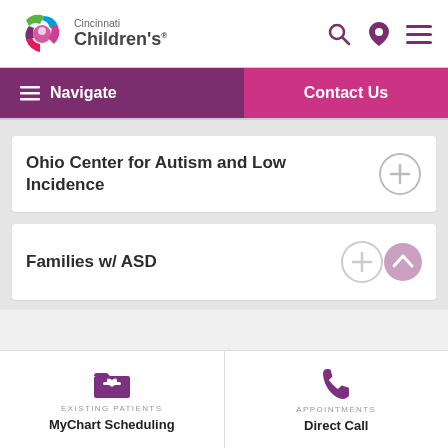[Figure (logo): Cincinnati Children's hospital logo with colorful circular icon and text]
Navigate
Contact Us
Ohio Center for Autism and Low Incidence
Families w/ ASD
EXISTING PATIENTS
MyChart Scheduling
APPOINTMENTS
Direct Call